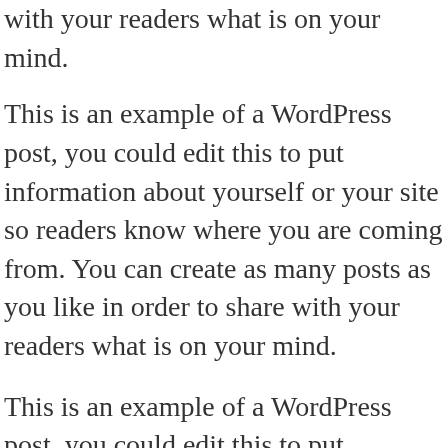with your readers what is on your mind.
This is an example of a WordPress post, you could edit this to put information about yourself or your site so readers know where you are coming from. You can create as many posts as you like in order to share with your readers what is on your mind.
This is an example of a WordPress post, you could edit this to put information about yourself or your site so readers know where you are coming from. You can create as many posts as you like in order to share with your readers what is on your mind. This is an example of a WordPress post, you could edit this to put information about yourself or your site so readers know where you are coming from. You can